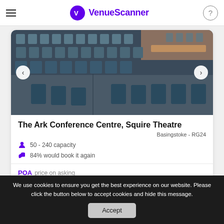VenueScanner
[Figure (photo): Interior of a theatre/conference centre showing rows of blue auditorium chairs viewed from an elevated angle, with a stage area visible in the background.]
The Ark Conference Centre, Squire Theatre
Basingstoke - RG24
50 - 240 capacity
84% would book it again
POA  price on asking
We use cookies to ensure you get the best experience on our website. Please click the button below to accept cookies and hide this message.
Accept